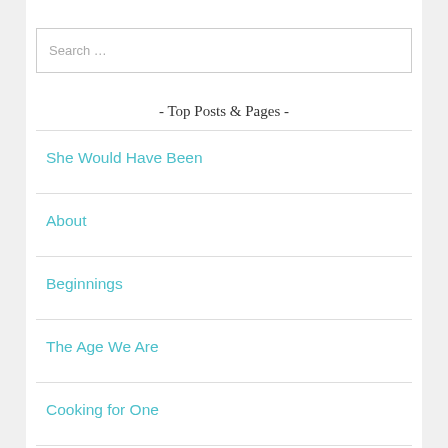Search …
- Top Posts & Pages -
She Would Have Been
About
Beginnings
The Age We Are
Cooking for One
Press Through